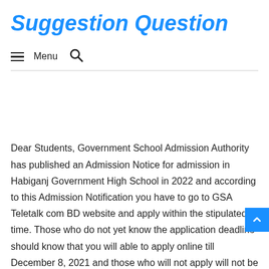Suggestion Question
≡ Menu 🔍
[Figure (other): Advertisement placeholder area (blank white space)]
Dear Students, Government School Admission Authority has published an Admission Notice for admission in Habiganj Government High School in 2022 and according to this Admission Notification you have to go to GSA Teletalk com BD website and apply within the stipulated time. Those who do not yet know the application deadline should know that you will able to apply online till December 8, 2021 and those who will not apply will not be able to participate in the lottery process